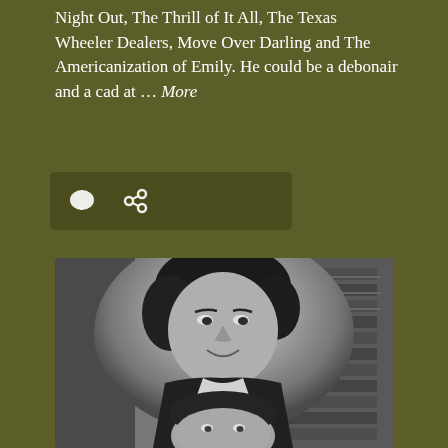Night Out, The Thrill of It All, The Texas Wheeler Dealers, Move Over Darling and The Americanization of Emily. He could be a debonair and a cad at … More
[Figure (other): Icon bar with comment bubble and link/share icons on olive/dark green background]
[Figure (photo): Black and white photograph of two people, a woman with a bob haircut in the foreground smiling, and a man partially visible below her, with a brick wall visible in the background]